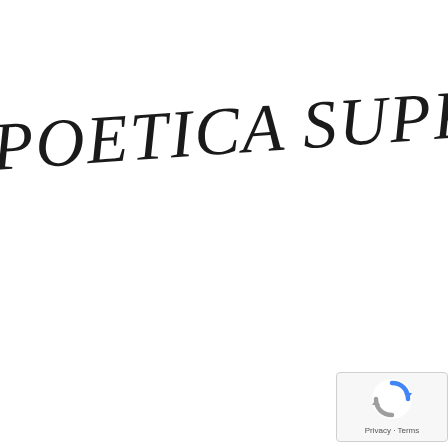POETICA SUPP S°
[Figure (logo): reCAPTCHA badge with spinning arrow logo icon and Privacy - Terms text]